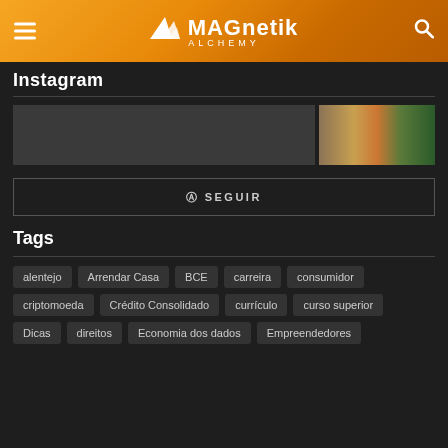MAGnetik ALCHEMY
Instagram
[Figure (photo): Instagram image strip with a colorful photo thumbnail on the right]
@ SEGUIR
Tags
alentejo
Arrendar Casa
BCE
carreira
consumidor
criptomoeda
Crédito Consolidado
currículo
curso superior
Dicas
direitos
Economia dos dados
Empreendedores